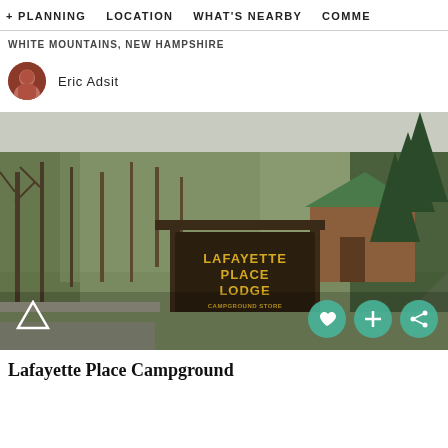+ PLANNING    LOCATION    WHAT'S NEARBY    COMME
WHITE MOUNTAINS, NEW HAMPSHIRE
Eric Adsit
[Figure (photo): Entrance sign for Lafayette Place Lodge with text 'LAFAYETTE PLACE LODGE CAMPGROUND STORE REGISTER HERE' on a dark wooden sign post. Background shows a log cabin with green roof, trees, and a gravel road in a forest setting in autumn/early spring.]
Lafayette Place Campground